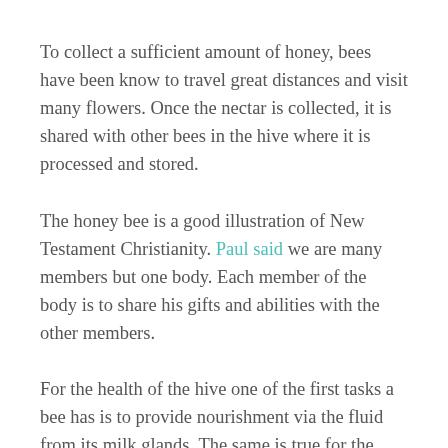To collect a sufficient amount of honey, bees have been know to travel great distances and visit many flowers. Once the nectar is collected, it is shared with other bees in the hive where it is processed and stored.
The honey bee is a good illustration of New Testament Christianity. Paul said we are many members but one body. Each member of the body is to share his gifts and abilities with the other members.
For the health of the hive one of the first tasks a bee has is to provide nourishment via the fluid from its milk glands. The same is true for the church: The members start with the milk of the Word and then move on to the meat.